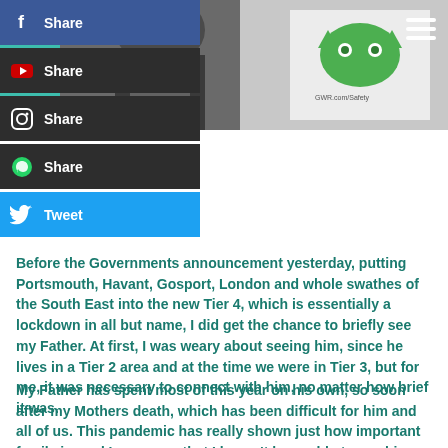[Figure (photo): Person wearing dark jacket and scarf, holding something, with a green cat logo visible in background on teal background]
Share (Facebook)
Share (YouTube)
Share (Instagram)
Share (WhatsApp)
Tweet (Twitter)
Before the Governments announcement yesterday, putting Portsmouth, Havant, Gosport, London and whole swathes of the South East into the new Tier 4, which is essentially a lockdown in all but name, I did get the chance to briefly see my Father. At first, I was weary about seeing him, since he lives in a Tier 2 area and at the time we were in Tier 3, but for me, it was necessary to connect with him,  no matter how brief it was.
My Father has spent most of this year on his own, so soon after my Mothers death, which has been difficult for him and all of us. This pandemic has really shown just how important family is, and I am angry that I haven't been able to see him as much as I would have liked. Not wanting to risk his health,